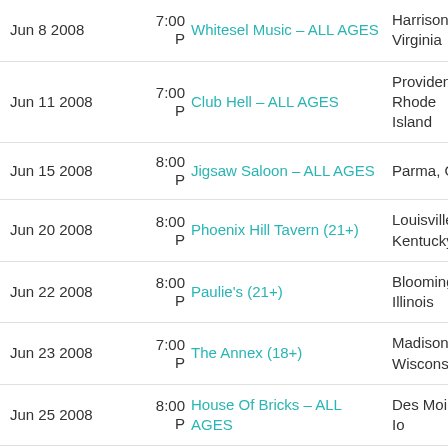| Date | Time | Venue | Location |
| --- | --- | --- | --- |
| Jun 8 2008 | 7:00 P | Whitesel Music – ALL AGES | Harrisonburg, Virginia |
| Jun 11 2008 | 7:00 P | Club Hell – ALL AGES | Providence, Rhode Island |
| Jun 15 2008 | 8:00 P | Jigsaw Saloon – ALL AGES | Parma, Ohio |
| Jun 20 2008 | 8:00 P | Phoenix Hill Tavern (21+) | Louisville, Kentucky |
| Jun 22 2008 | 8:00 P | Paulie's (21+) | Bloomington, Illinois |
| Jun 23 2008 | 7:00 P | The Annex (18+) | Madison, Wisconsin |
| Jun 25 2008 | 8:00 P | House Of Bricks – ALL AGES | Des Moines, Iowa |
| Jun 26 2008 | 7:00 P | The Red Raven – ALL AGES | Fargo, North Dakota |
| Jun 27 2008 | 8:00 P | Norms Beer and Brats (21+) | Superior, Wisconsin |
| Jun 28 2008 | 6:00 P | The Warehouse – ALL AGES | La Crosse, Wisconsin |